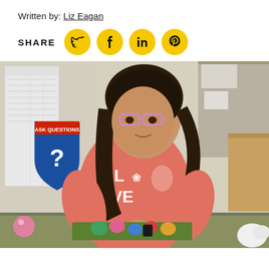Written by: Liz Eagan
[Figure (infographic): Share row with SHARE label and four yellow circular social media icons: Twitter (bird), Facebook (f), LinkedIn (in), Pinterest (P)]
[Figure (photo): A young girl with glasses and dark curly hair, wearing a pink/coral t-shirt with 'LOVE' and a butterfly design, standing at a table with colorful Easter eggs and balls. Behind her is a classroom wall with an 'ASK QUESTIONS' badge sign with a question mark, and papers posted on wall.]